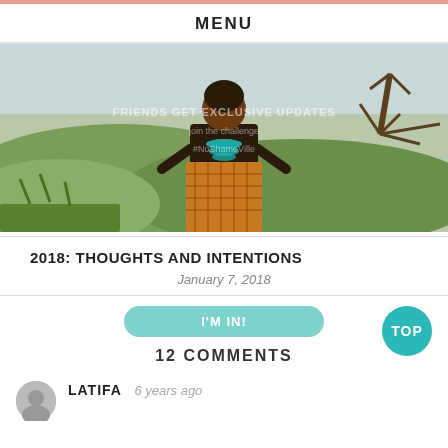MENU
[Figure (photo): A woman standing outdoors on a hilltop with a scenic landscape behind her, wearing a teal necklace and patterned skirt. Overlay text reads: FRIENDS GET EXCLUSIVE UPDATES, join the challenge, #NoShameVille]
2018: THOUGHTS AND INTENTIONS
January 7, 2018
I'M IN!
12 COMMENTS
TOP
LATIFA  6 years ago